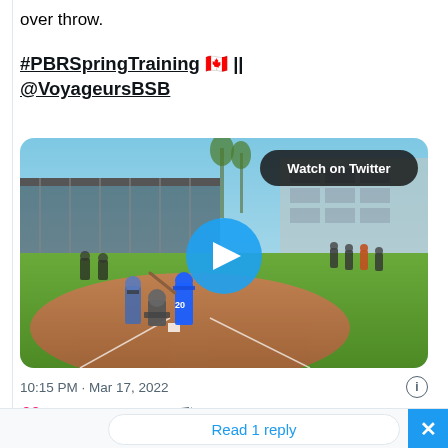over throw.
#PBRSpringTraining 🇨🇦 || @VoyageursBSB
[Figure (screenshot): Video thumbnail of a baseball game with a batter wearing number 20 in a blue uniform, a catcher, and an umpire at home plate. A 'Watch on Twitter' badge appears in the top right, and a blue play button is centered on the image.]
10:15 PM · Mar 17, 2022
19  Reply  Copy link
Read 1 reply